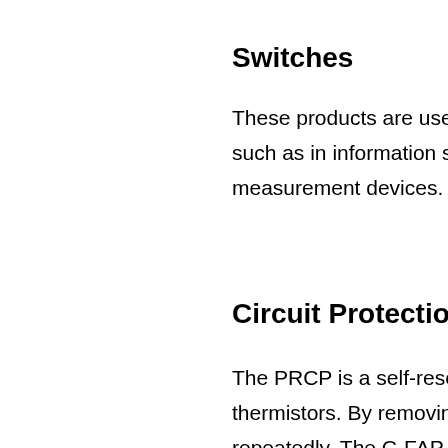Switches
These products are used for pro… such as in information systems,… measurement devices.
Circuit Protection Comp…
The PRCP is a self-resettable-ty… thermistors. By removing the ca… repeatedly. The C-FAP is a sem…